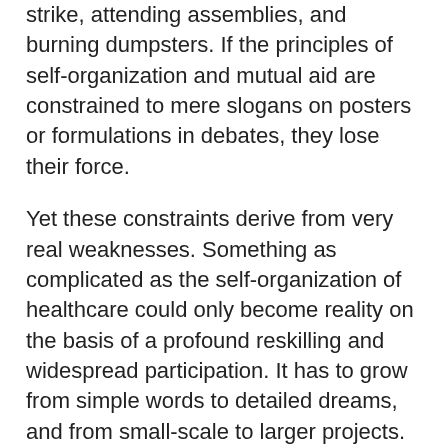strike, attending assemblies, and burning dumpsters. If the principles of self-organization and mutual aid are constrained to mere slogans on posters or formulations in debates, they lose their force.
Yet these constraints derive from very real weaknesses. Something as complicated as the self-organization of healthcare could only become reality on the basis of a profound reskilling and widespread participation. It has to grow from simple words to detailed dreams, and from small-scale to larger projects. Nor will this growth be unilinear: like everything, it will have ebbs and flows, setbacks and disappointments. But if we are not open to this growth, if we do not start these projects or spread these dreams, nor take part when others do—then